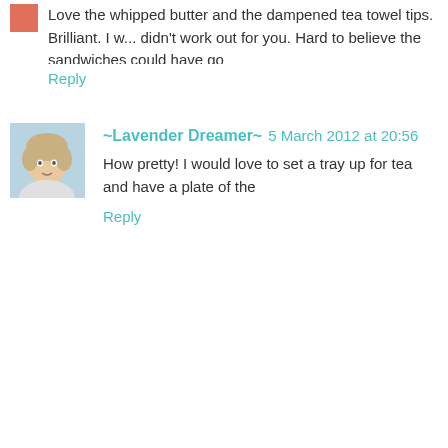Love the whipped butter and the dampened tea towel tips. Brilliant. I... didn't work out for you. Hard to believe the sandwiches could have go...
Reply
~Lavender Dreamer~ 5 March 2012 at 20:56
How pretty! I would love to set a tray up for tea and have a plate of the...
Reply